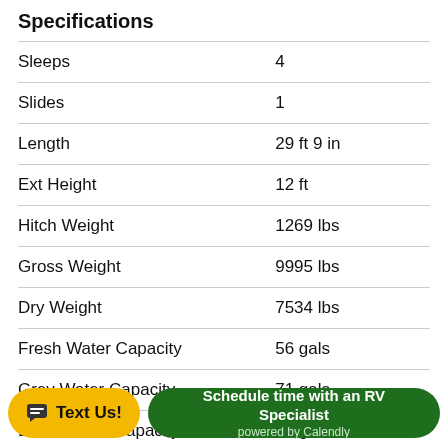Specifications
| Specification | Value |
| --- | --- |
| Sleeps | 4 |
| Slides | 1 |
| Length | 29 ft 9 in |
| Ext Height | 12 ft |
| Hitch Weight | 1269 lbs |
| Gross Weight | 9995 lbs |
| Dry Weight | 7534 lbs |
| Fresh Water Capacity | 56 gals |
| Grey Water Capacity | 71 gals |
| Black Water Capacity | 39 gals |
| Furnace BTU | 35000 btu |
| (partial) Bed Type | Queen |
| (partial) Cooktop Burners | 2 |